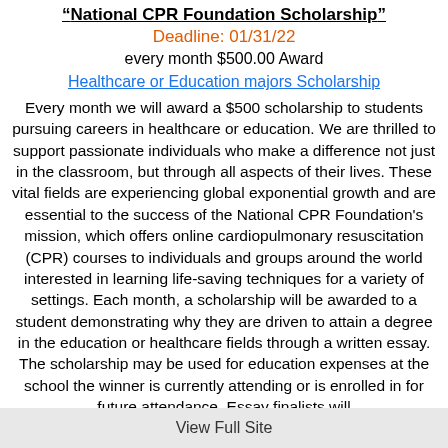"National CPR Foundation Scholarship"
Deadline: 01/31/22
every month $500.00 Award
Healthcare or Education majors Scholarship
Every month we will award a $500 scholarship to students pursuing careers in healthcare or education. We are thrilled to support passionate individuals who make a difference not just in the classroom, but through all aspects of their lives. These vital fields are experiencing global exponential growth and are essential to the success of the National CPR Foundation's mission, which offers online cardiopulmonary resuscitation (CPR) courses to individuals and groups around the world interested in learning life-saving techniques for a variety of settings. Each month, a scholarship will be awarded to a student demonstrating why they are driven to attain a degree in the education or healthcare fields through a written essay. The scholarship may be used for education expenses at the school the winner is currently attending or is enrolled in for future attendance. Essay finalists will
View Full Site